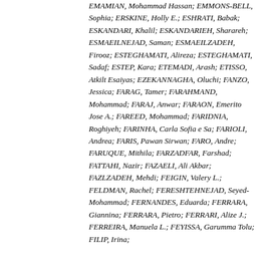EMAMIAN, Mohammad Hassan; EMMONS-BELL, Sophia; ERSKINE, Holly E.; ESHRATI, Babak; ESKANDARI, Khalil; ESKANDARIEH, Sharareh; ESMAEILNEJAD, Saman; ESMAEILZADEH, Firooz; ESTEGHAMATI, Alireza; ESTEGHAMATI, Sadaf; ESTEP, Kara; ETEMADI, Arash; ETISSO, Atkilt Esaiyas; EZEKANNAGHA, Oluchi; FANZO, Jessica; FARAG, Tamer; FARAHMAND, Mohammad; FARAJ, Anwar; FARAON, Emerito Jose A.; FAREED, Mohammad; FARIDNIA, Roghiyeh; FARINHA, Carla Sofia e Sa; FARIOLI, Andrea; FARIS, Pawan Sirwan; FARO, Andre; FARUQUE, Mithila; FARZADFAR, Farshad; FATTAHI, Nazir; FAZAELI, Ali Akbar; FAZLZADEH, Mehdi; FEIGIN, Valery L.; FELDMAN, Rachel; FERESHTEHNEJAD, Seyed-Mohammad; FERNANDES, Eduarda; FERRARA, Giannina; FERRARA, Pietro; FERRARI, Alize J.; FERREIRA, Manuela L.; FEYISSA, Garumma Tolu; FILIP, Irina;